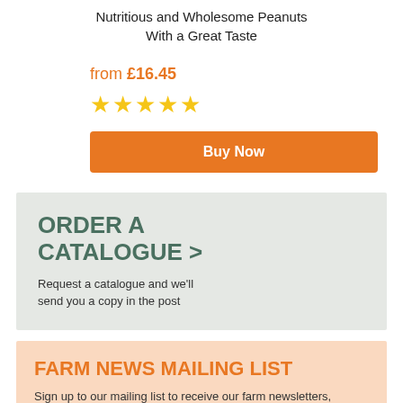Nutritious and Wholesome Peanuts With a Great Taste
from £16.45
[Figure (other): Five gold star rating icons]
Buy Now
ORDER A CATALOGUE >
Request a catalogue and we'll send you a copy in the post
FARM NEWS MAILING LIST
Sign up to our mailing list to receive our farm newsletters, special offers and competitions!